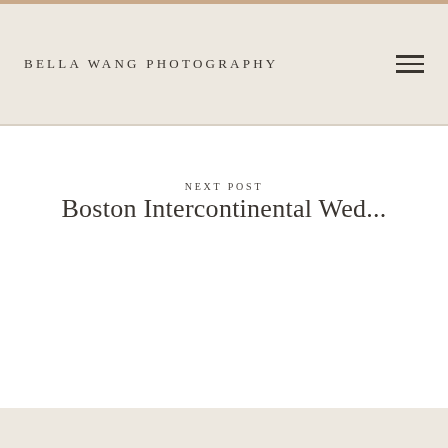BELLA WANG PHOTOGRAPHY
NEXT POST
Boston Intercontinental Wed...